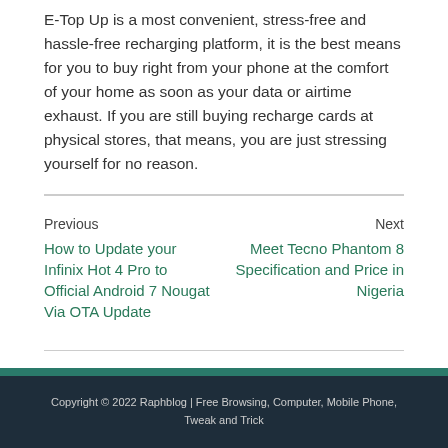E-Top Up is a most convenient, stress-free and hassle-free recharging platform, it is the best means for you to buy right from your phone at the comfort of your home as soon as your data or airtime exhaust. If you are still buying recharge cards at physical stores, that means, you are just stressing yourself for no reason.
Previous
How to Update your Infinix Hot 4 Pro to Official Android 7 Nougat Via OTA Update
Next
Meet Tecno Phantom 8 Specification and Price in Nigeria
Copyright © 2022 Raphblog | Free Browsing, Computer, Mobile Phone, Tweak and Trick